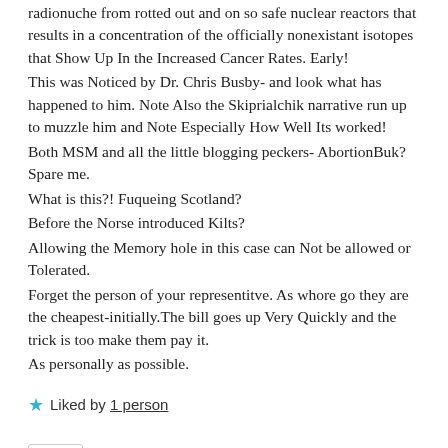radionuche from rotted out and on so safe nuclear reactors that results in a concentration of the officially nonexistant isotopes that Show Up In the Increased Cancer Rates. Early! This was Noticed by Dr. Chris Busby- and look what has happened to him. Note Also the Skiprialchik narrative run up to muzzle him and Note Especially How Well Its worked! Both MSM and all the little blogging peckers- AbortionBuk? Spare me. What is this?! Fuqueing Scotland? Before the Norse introduced Kilts? Allowing the Memory hole in this case can Not be allowed or Tolerated. Forget the person of your representitve. As whore go they are the cheapest-initially.The bill goes up Very Quickly and the trick is too make them pay it. As personally as possible.
Liked by 1 person